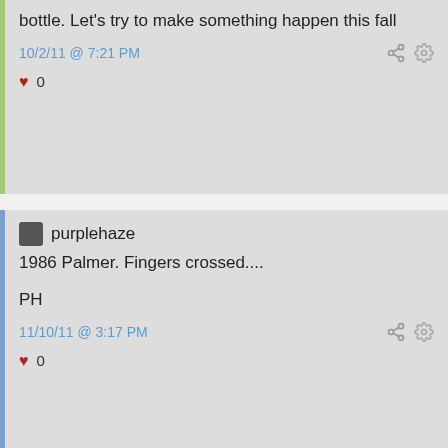bottle. Let's try to make something happen this fall
10/2/11 @ 7:21 PM
0
purplehaze
1986 Palmer. Fingers crossed....
PH
11/10/11 @ 3:17 PM
0